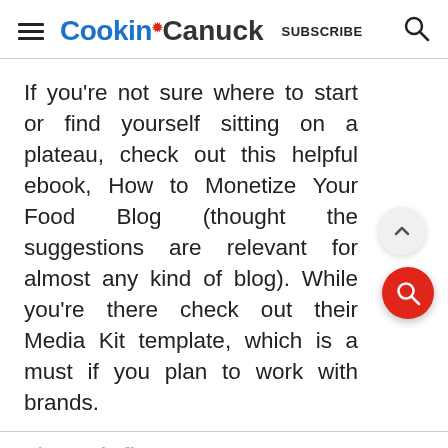Cookin' Canuck  SUBSCRIBE
If you're not sure where to start or find yourself sitting on a plateau, check out this helpful ebook, How to Monetize Your Food Blog (thought the suggestions are relevant for almost any kind of blog). While you're there check out their Media Kit template, which is a must if you plan to work with brands.
1) Cash flow